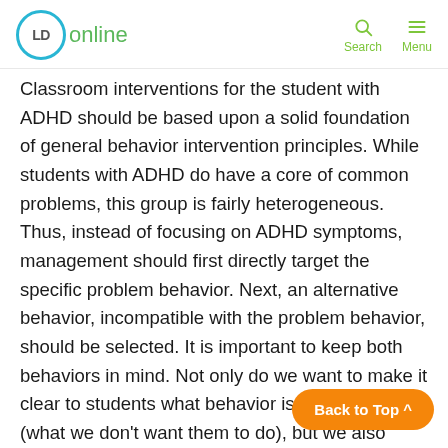LD online | Search | Menu
Classroom interventions for the student with ADHD should be based upon a solid foundation of general behavior intervention principles. While students with ADHD do have a core of common problems, this group is fairly heterogeneous. Thus, instead of focusing on ADHD symptoms, management should first directly target the specific problem behavior. Next, an alternative behavior, incompatible with the problem behavior, should be selected. It is important to keep both behaviors in mind. Not only do we want to make it clear to students what behavior is unacceptable (what we don't want them to do), but we also want to make it clear what behavior is acceptable (what we want them to do). These